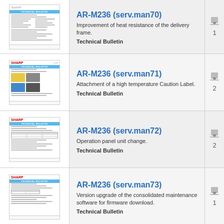[Figure (thumbnail): Thumbnail of AR-M236 serv.man70 document cover page]
AR-M236 (serv.man70)
Improvement of heat resistance of the delivery frame.
Technical Bulletin
1
[Figure (thumbnail): Thumbnail of AR-M236 serv.man71 Technical Bulletin document with yellow component images]
AR-M236 (serv.man71)
Attachment of a high temperature Caution Label.
Technical Bulletin
2
[Figure (thumbnail): Thumbnail of AR-M236 serv.man72 Technical Bulletin document with table]
AR-M236 (serv.man72)
Operation panel unit change.
Technical Bulletin
2
[Figure (thumbnail): Thumbnail of AR-M236 serv.man73 Technical Bulletin document]
AR-M236 (serv.man73)
Version upgrade of the consolidated maintenance software for firmware download.
Technical Bulletin
1